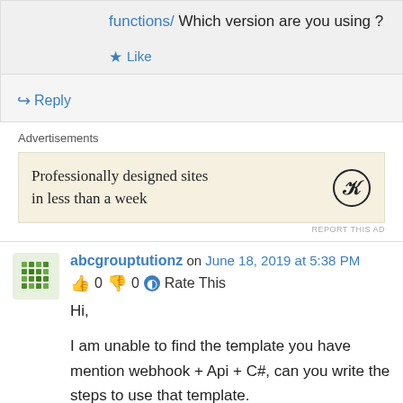functions/ Which version are you using ?
★ Like
↳ Reply
Advertisements
[Figure (other): WordPress advertisement banner: Professionally designed sites in less than a week with WordPress logo]
REPORT THIS AD
abcgrouptutionz on June 18, 2019 at 5:38 PM
👍 0 👎 0 🕐 Rate This
Hi,
I am unable to find the template you have mention webhook + Api + C#, can you write the steps to use that template.